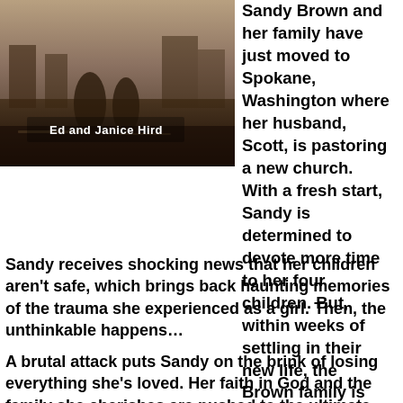[Figure (photo): Book cover image showing 'Ed and Janice Hird' text overlay on a dark background with figures]
Sandy Brown and her family have just moved to Spokane, Washington where her husband, Scott, is pastoring a new church. With a fresh start, Sandy is determined to devote more time to her four children. But, within weeks of settling in their new life, the Brown family is plunged into turmoil.
Sandy receives shocking news that her children aren't safe, which brings back haunting memories of the trauma she experienced as a girl. Then, the unthinkable happens…
A brutal attack puts Sandy on the brink of losing everything she's loved. Her faith in God and the family she cherishes are pushed to the ultimate limit.